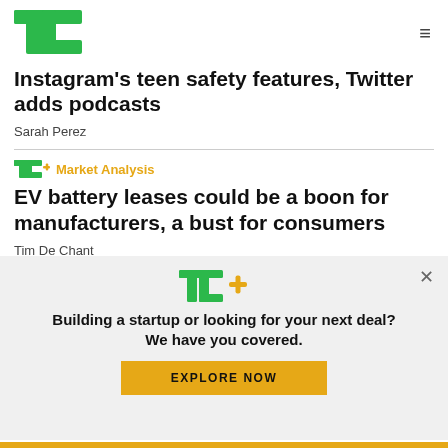TechCrunch logo and navigation
Instagram's teen safety features, Twitter adds podcasts
Sarah Perez
TC+ Market Analysis
EV battery leases could be a boon for manufacturers, a bust for consumers
Tim De Chant
[Figure (logo): TechCrunch TC+ logo modal with 'Building a startup or looking for your next deal? We have you covered.' and EXPLORE NOW button]